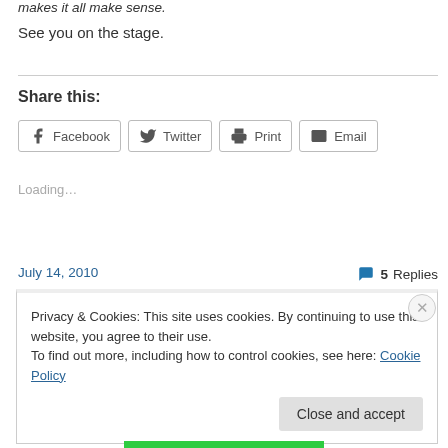makes it all make sense.
See you on the stage.
Share this:
[Figure (other): Share buttons: Facebook, Twitter, Print, Email]
Loading...
July 14, 2010
5 Replies
Privacy & Cookies: This site uses cookies. By continuing to use this website, you agree to their use.
To find out more, including how to control cookies, see here: Cookie Policy